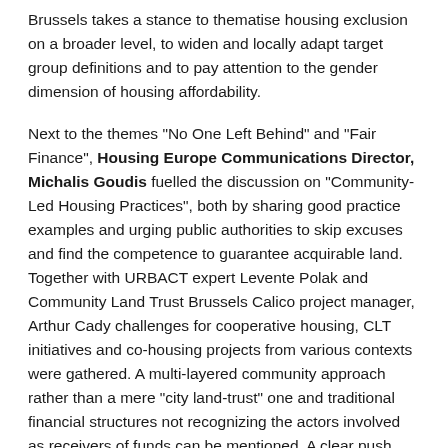Brussels takes a stance to thematise housing exclusion on a broader level, to widen and locally adapt target group definitions and to pay attention to the gender dimension of housing affordability.
Next to the themes "No One Left Behind" and "Fair Finance", Housing Europe Communications Director, Michalis Goudis fuelled the discussion on "Community-Led Housing Practices", both by sharing good practice examples and urging public authorities to skip excuses and find the competence to guarantee acquirable land. Together with URBACT expert Levente Polak and Community Land Trust Brussels Calico project manager, Arthur Cady challenges for cooperative housing, CLT initiatives and co-housing projects from various contexts were gathered. A multi-layered community approach rather than a mere "city land-trust" one and traditional financial structures not recognizing the actors involved as receivers of funds can be mentioned. A clear push